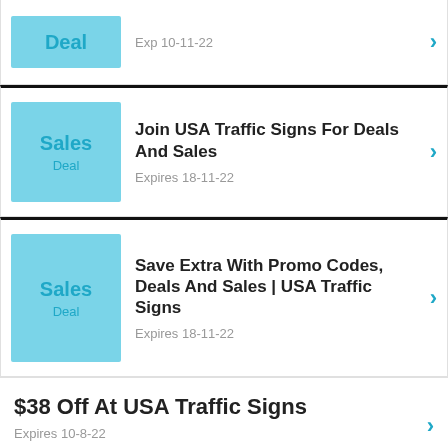Sales Deal — Exp 10-11-22 (partial top card)
Join USA Traffic Signs For Deals And Sales — Expires 18-11-22
Save Extra With Promo Codes, Deals And Sales | USA Traffic Signs — Expires 18-11-22
$38 Off At USA Traffic Signs — Expires 10-8-22